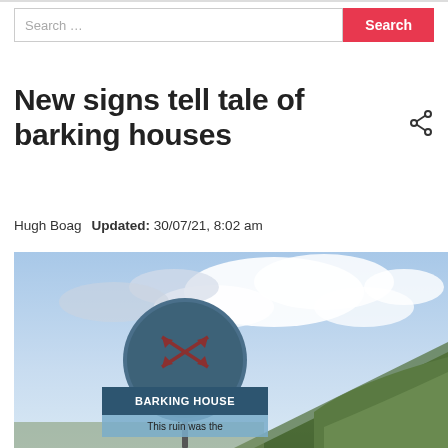Search ...
New signs tell tale of barking houses
Hugh Boag   Updated: 30/07/21, 8:02 am
[Figure (photo): Outdoor photo showing a blue circular heritage sign reading 'BARKING HOUSE - This ruin was the...' with a crossed arrows emblem, set against a hillside and cloudy sky backdrop.]